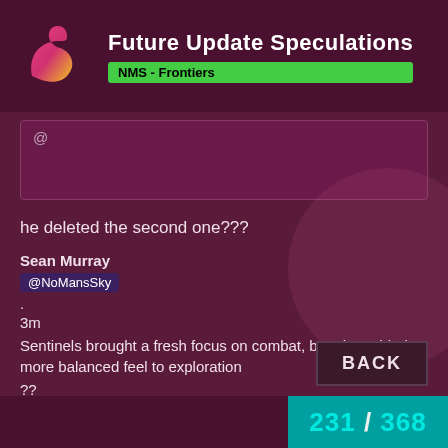Future Update Speculations | NMS - Frontiers
[Figure (logo): Abstract S-shaped logo with pink/magenta to yellow gradient]
@
he deleted the second one???
Sean Murray
@NoMansSky
.
3m
Sentinels brought a fresh focus on combat, but also added a more balanced feel to exploration
??
Something being announced???
231 / 368